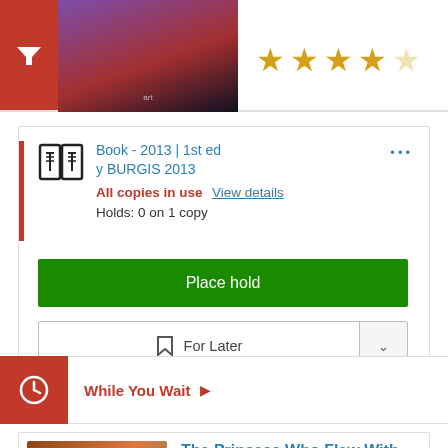[Figure (screenshot): Top area with red filter button, book cover thumbnail, and 4-star rating]
Book - 2013 | 1st ed y BURGIS 2013
All copies in use View details
Holds: 0 on 1 copy
Place hold
For Later
While You Wait
The Princess Who Flew With Dragons